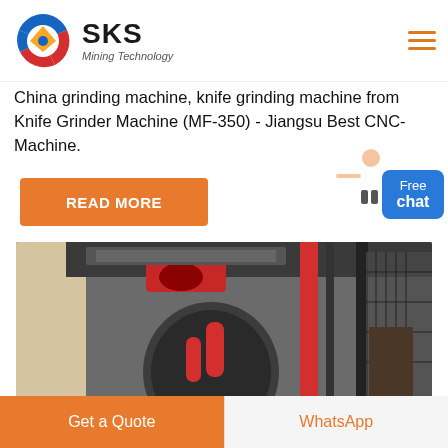SKS Mining Technology
China grinding machine, knife grinding machine from Knife Grinder Machine (MF-350) - Jiangsu Best CNC-Machine.
READ MORE
[Figure (photo): Industrial grinding/milling machine in a factory setting, showing large rotating drum with red hydraulic cylinders and mechanical components, inside a factory with steel infrastructure]
Get a Quote
WhatsApp